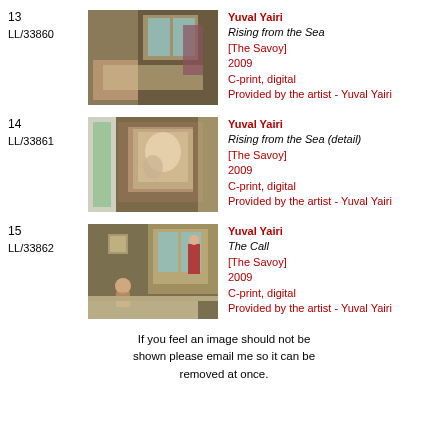13 LL/33860 | Yuval Yairi | Rising from the Sea | [The Savoy] | 2009 | C-print, digital | Provided by the artist - Yuval Yairi
[Figure (photo): Interior room scene with a figure lying on a bed, windows with views outside, warm tones]
14 LL/33861 | Yuval Yairi | Rising from the Sea (detail) | [The Savoy] | 2009 | C-print, digital | Provided by the artist - Yuval Yairi
[Figure (photo): Interior room with a large classical painting on wall, doorway with plants visible]
15 LL/33862 | Yuval Yairi | The Call | [The Savoy] | 2009 | C-print, digital | Provided by the artist - Yuval Yairi
[Figure (photo): Interior room scene, figure seated on floor near a bed, figure in red in background]
If you feel an image should not be shown please email me so it can be removed at once.